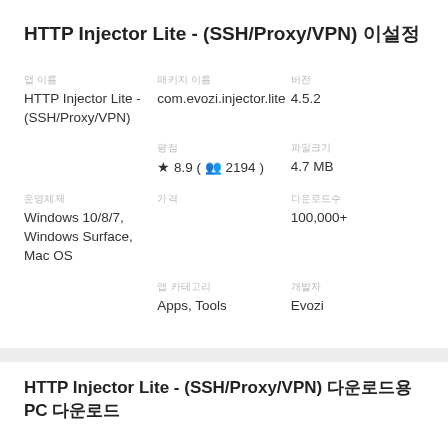HTTP Injector Lite - (SSH/Proxy/VPN) 다운로드
| 앱 이름
HTTP Injector Lite - (SSH/Proxy/VPN) | 패키지 이름
com.evozi.injector.lite | 버전
4.5.2 |
|  | 평점
★ 8.9 ( 👤 2194 ) | 파일크기
4.7 MB |
| 운영체제
Windows 10/8/7, Windows Surface, Mac OS | 가격
 | 다운로드수
100,000+ |
|  | 앱 카테고리
Apps, Tools | 개발자
Evozi |
HTTP Injector Lite - (SSH/Proxy/VPN) 다운로드용 PC 다운로드
[Figure (screenshot): Two app icons visible at bottom - left shows HTTP Injector Lite colorful icon, right shows a red/yellow icon]